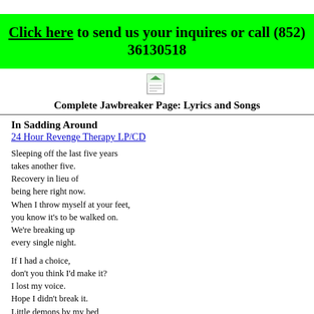Click here to send us your inquires or call (852) 36130518
[Figure (illustration): Small page/document icon image]
Complete Jawbreaker Page: Lyrics and Songs
In Sadding Around
24 Hour Revenge Therapy LP/CD
Sleeping off the last five years
takes another five.
Recovery in lieu of
being here right now.
When I throw myself at your feet,
you know it's to be walked on.
We're breaking up
every single night.
If I had a choice,
don't you think I'd make it?
I lost my voice.
Hope I didn't break it.
Little demons by my bed
whisper secrets.
The kind you never hear.
I dip my toe in this cold, cold life.